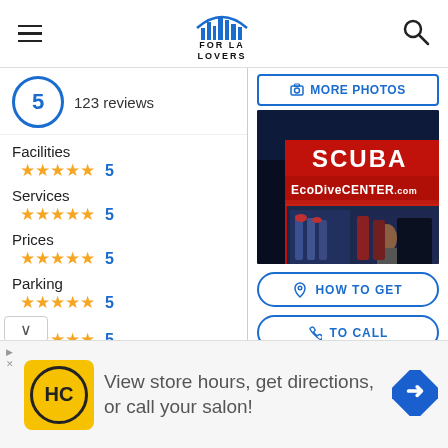FOR LA LOVERS — navigation header with hamburger menu, logo, and search icon
5  123 reviews
Facilities ★★★★★ 5
Services ★★★★★ 5
Prices ★★★★★ 5
Parking ★★★★★ 5
Wifi ★★★★★ 5
[Figure (photo): Storefront photo of Scuba EcoDiveCenter.com at night with red signage and lit window display]
📷 MORE PHOTOS
📍 HOW TO GET
📞 TO CALL
View store hours, get directions, or call your salon!